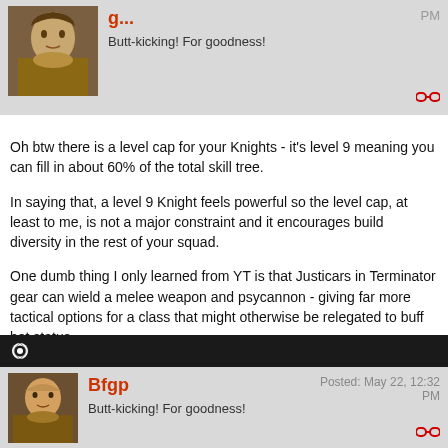[Figure (illustration): Forum post header showing a fantasy portrait avatar, username (partially visible), 'Butt-kicking! For goodness!' tagline, and a PM link]
Oh btw there is a level cap for your Knights - it's level 9 meaning you can fill in about 60% of the total skill tree.

In saying that, a level 9 Knight feels powerful so the level cap, at least to me, is not a major constraint and it encourages build diversity in the rest of your squad.

One dumb thing I only learned from YT is that Justicars in Terminator gear can wield a melee weapon and psycannon - giving far more tactical options for a class that might otherwise be relegated to buff bot status.
[Figure (illustration): Steam icon on dark background]
[Figure (illustration): Forum post header for user Bfgp, Posted: May 22, 12:32 PM, Butt-kicking! For goodness! tagline]
This game is fun. Like really fun simply mixing up the different classes and abilities / equipment to get broken levels of damage output.

I finally got around to levelling my Chaplain and a Purifier; and with one